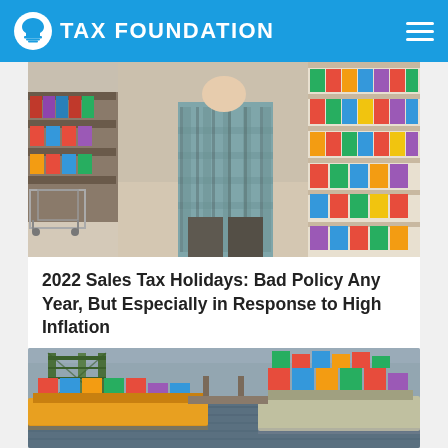TAX FOUNDATION
[Figure (photo): Person with plaid shirt viewed from behind, shopping in a retail store aisle with shelves of products and a shopping cart visible]
2022 Sales Tax Holidays: Bad Policy Any Year, But Especially in Response to High Inflation
[Figure (photo): Aerial view of a port with container ships, cranes, and a waterway]